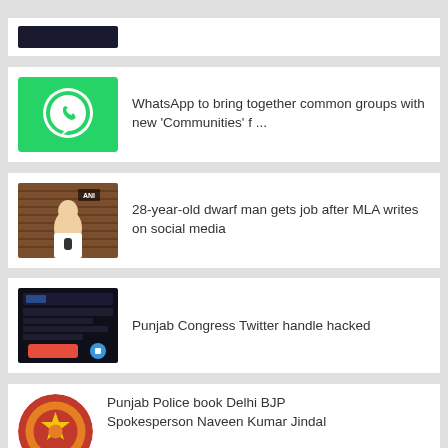[Figure (screenshot): Partially visible top card with dark image cropped at top]
[Figure (logo): WhatsApp green logo icon on bright green background]
WhatsApp to bring together common groups with new 'Communities' f ...
[Figure (photo): 28-year-old dwarf man standing in front of shutters, ANI news watermark]
28-year-old dwarf man gets job after MLA writes on social media
[Figure (screenshot): Punjab Congress Twitter handle screenshot on dark background with red element]
Punjab Congress Twitter handle hacked
[Figure (logo): Punjab Police circular logo/emblem in red and yellow]
Punjab Police book Delhi BJP Spokesperson Naveen Kumar Jindal